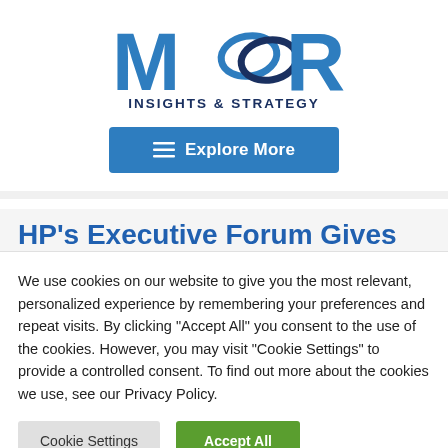[Figure (logo): Moor Insights & Strategy logo — stylized blue M and O-R letters with interlocking diamond/oval shapes, text 'INSIGHTS & STRATEGY' below]
≡  Explore More
HP's Executive Forum Gives
We use cookies on our website to give you the most relevant, personalized experience by remembering your preferences and repeat visits. By clicking "Accept All" you consent to the use of the cookies. However, you may visit "Cookie Settings" to provide a controlled consent. To find out more about the cookies we use, see our Privacy Policy.
Cookie Settings   Accept All